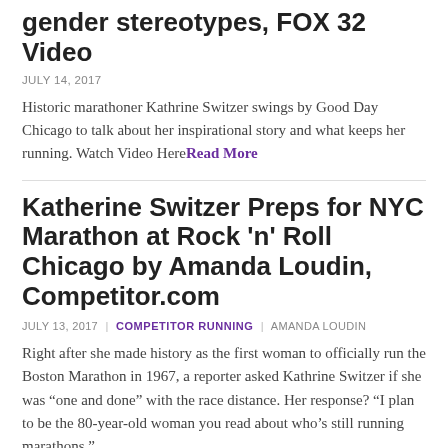gender stereotypes, FOX 32 Video
JULY 14, 2017
Historic marathoner Kathrine Switzer swings by Good Day Chicago to talk about her inspirational story and what keeps her running. Watch Video Here Read More
Katherine Switzer Preps for NYC Marathon at Rock 'n' Roll Chicago by Amanda Loudin, Competitor.com
JULY 13, 2017 | COMPETITOR RUNNING | AMANDA LOUDIN
Right after she made history as the first woman to officially run the Boston Marathon in 1967, a reporter asked Kathrine Switzer if she was “one and done” with the race distance. Her response? “I plan to be the 80-year-old woman you read about who’s still running marathons.”